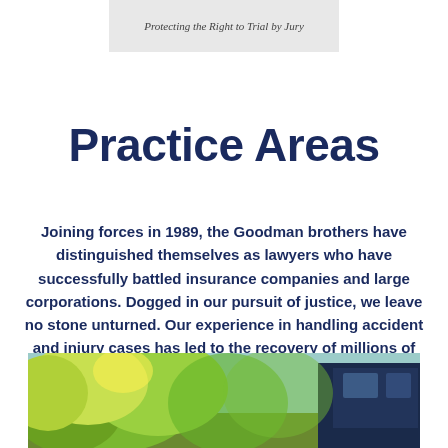[Figure (photo): Banner with italic text 'Protecting the Right to Trial by Jury' on a light gray background]
Practice Areas
Joining forces in 1989, the Goodman brothers have distinguished themselves as lawyers who have successfully battled insurance companies and large corporations. Dogged in our pursuit of justice, we leave no stone unturned. Our experience in handling accident and injury cases has led to the recovery of millions of dollars for our deserving clients.
[Figure (photo): Outdoor photo showing sunlit trees with yellow-green foliage and a dark car or vehicle on the right side]